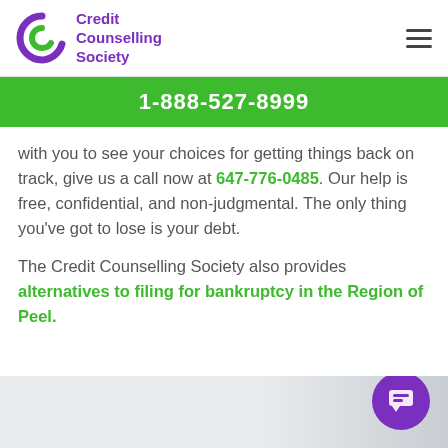Credit Counselling Society
1-888-527-8999
with you to see your choices for getting things back on track, give us a call now at 647-776-0485. Our help is free, confidential, and non-judgmental. The only thing you've got to lose is your debt.
The Credit Counselling Society also provides alternatives to filing for bankruptcy in the Region of Peel.